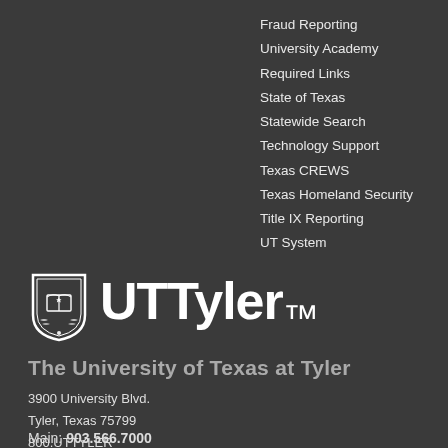Fraud Reporting
University Academy
Required Links
State of Texas
Statewide Search
Technology Support
Texas CREWS
Texas Homeland Security
Title IX Reporting
UT System
[Figure (logo): UT Tyler shield logo with open book and laurel wreath, alongside UTTyler. wordmark in white on dark background]
The University of Texas at Tyler
3900 University Blvd.
Tyler, Texas 75799
800.UTTYLER
enroll@uttyler.edu
Main: 903.566.7000